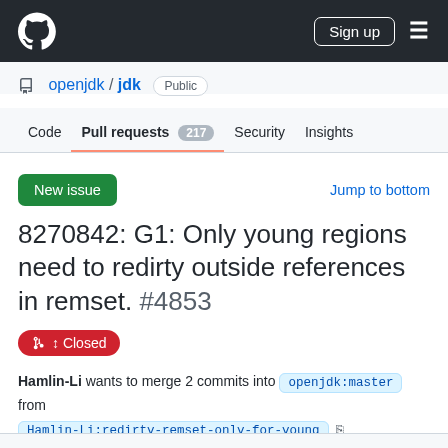GitHub header with logo, Sign up button, and hamburger menu
openjdk / jdk  Public
Code  Pull requests 217  Security  Insights
New issue    Jump to bottom
8270842: G1: Only young regions need to redirty outside references in remset. #4853
Closed
Hamlin-Li wants to merge 2 commits into openjdk:master from Hamlin-Li:redirty-remset-only-for-young